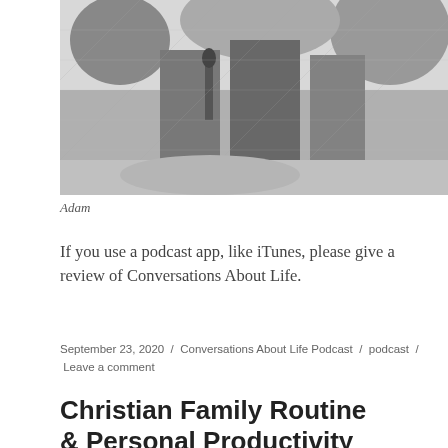[Figure (photo): Black and white photograph of a person or people outdoors, grayscale tones with textured details]
Adam
If you use a podcast app, like iTunes, please give a review of Conversations About Life.
September 23, 2020 / Conversations About Life Podcast / podcast / Leave a comment
Christian Family Routine & Personal Productivity